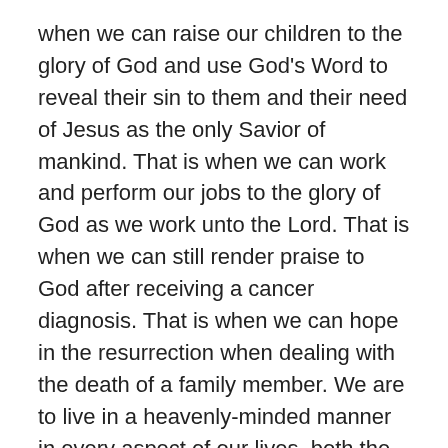when we can raise our children to the glory of God and use God's Word to reveal their sin to them and their need of Jesus as the only Savior of mankind. That is when we can work and perform our jobs to the glory of God as we work unto the Lord. That is when we can still render praise to God after receiving a cancer diagnosis. That is when we can hope in the resurrection when dealing with the death of a family member. We are to live in a heavenly-minded manner in every aspect of our lives, both the good and the bad.
It is like Peter walking on the water. While his eyes were on Jesus, he walked calmly and supernaturally toward Christ in the midst of the storm. But as soon as he took his eyes off of Jesus